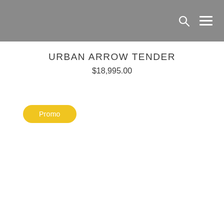URBAN ARROW TENDER
$18,995.00
Promo